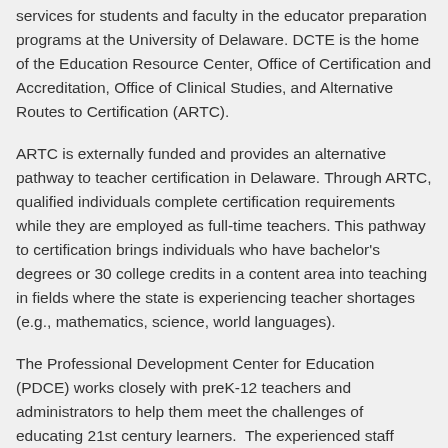services for students and faculty in the educator preparation programs at the University of Delaware. DCTE is the home of the Education Resource Center, Office of Certification and Accreditation, Office of Clinical Studies, and Alternative Routes to Certification (ARTC).
ARTC is externally funded and provides an alternative pathway to teacher certification in Delaware. Through ARTC, qualified individuals complete certification requirements while they are employed as full-time teachers. This pathway to certification brings individuals who have bachelor's degrees or 30 college credits in a content area into teaching in fields where the state is experiencing teacher shortages (e.g., mathematics, science, world languages).
The Professional Development Center for Education (PDCE) works closely with preK-12 teachers and administrators to help them meet the challenges of educating 21st century learners. The experienced staff provides professional development services customized to meet the needs of participating schools and districts.